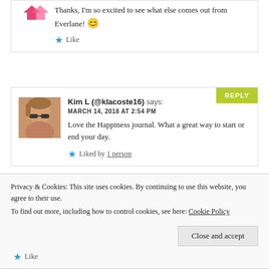Thanks, I'm so excited to see what else comes out from Everlane! 😊
Like
Kim L (@klacoste16) says:
MARCH 14, 2018 AT 2:54 PM
Love the Happiness journal. What a great way to start or end your day.
Liked by 1 person
Privacy & Cookies: This site uses cookies. By continuing to use this website, you agree to their use.
To find out more, including how to control cookies, see here: Cookie Policy
Close and accept
Like